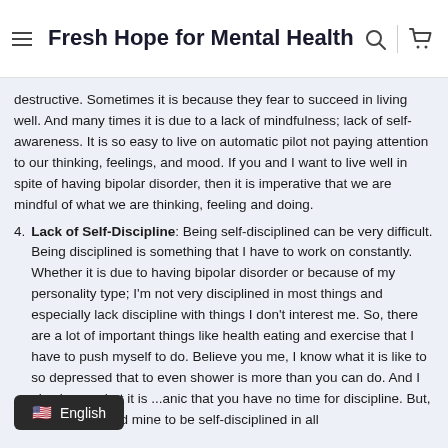Fresh Hope for Mental Health
destructive. Sometimes it is because they fear to succeed in living well. And many times it is due to a lack of mindfulness; lack of self-awareness. It is so easy to live on automatic pilot not paying attention to our thinking, feelings, and mood. If you and I want to live well in spite of having bipolar disorder, then it is imperative that we are mindful of what we are thinking, feeling and doing.
4. Lack of Self-Discipline: Being self-disciplined can be very difficult. Being disciplined is something that I have to work on constantly. Whether it is due to having bipolar disorder or because of my personality type; I'm not very disciplined in most things and especially lack discipline with things I don't interest me. So, there are a lot of important things like health eating and exercise that I have to push myself to do. Believe you me, I know what it is like to so depressed that to even shower is more than you can do. And I also know what it is ...anic that you have no time for discipline. But, ...f wellness and mine to be self-disciplined in all